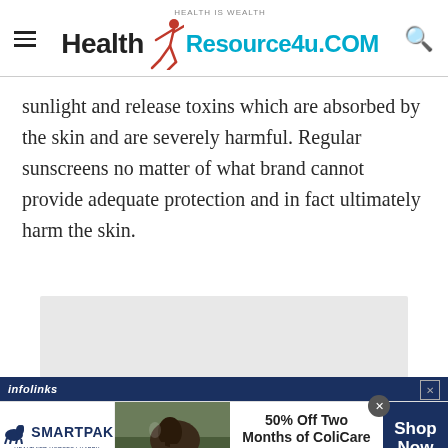HEALTH IS WEALTH | Health Resource4u.COM
sunlight and release toxins which are absorbed by the skin and are severely harmful. Regular sunscreens no matter of what brand cannot provide adequate protection and in fact ultimately harm the skin.
[Figure (screenshot): Advertisement gray placeholder box]
[Figure (screenshot): Infolinks bar with close button]
[Figure (screenshot): SmartPak advertisement banner: 50% Off Two Months of ColiCare, ColiCare Eligible Supplements, CODE: COLICARE10, Shop Now button]